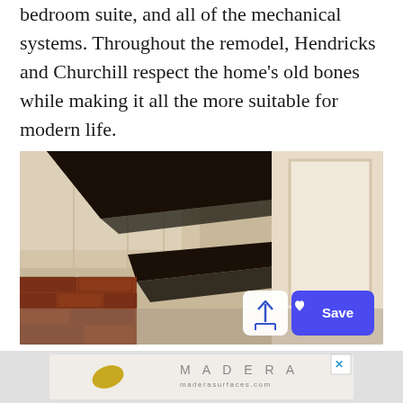bedroom suite, and all of the mechanical systems. Throughout the remodel, Hendricks and Churchill respect the home’s old bones while making it all the more suitable for modern life.
[Figure (photo): Interior photo showing dark wooden ceiling beams in a room with cream/white paneled walls and exposed brick, with a share button and blue Save button overlay visible in the lower right of the image.]
[Figure (other): Advertisement banner for MADERA / maderasurfaces.com showing a yellow leaf on a wood surface background, with a close (X) button in the upper right corner.]